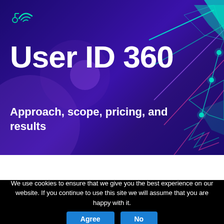[Figure (logo): Green and teal stylized logo icon (circuit/wifi symbol) in top left of hero banner]
User ID 360
Approach, scope, pricing, and results
[Figure (illustration): Abstract technology network graphic with glowing teal/green geometric triangles and connecting nodes on purple background, right side of hero]
We use cookies to ensure that we give you the best experience on our website. If you continue to use this site we will assume that you are happy with it.